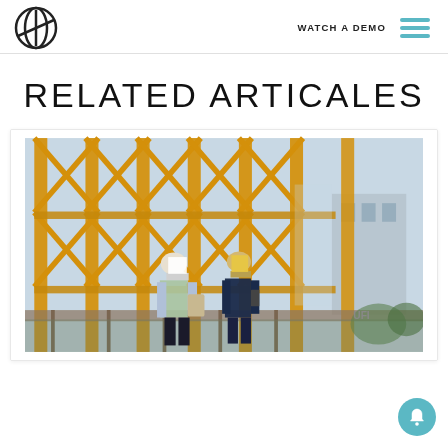WATCH A DEMO [logo] [hamburger menu]
RELATED ARTICALES
[Figure (photo): Two construction workers wearing hard hats (one white, one yellow) standing at a construction site with large yellow crane scaffolding structures in the background. One worker is holding a tablet, the other is holding a device. They appear to be reviewing plans or having a discussion.]